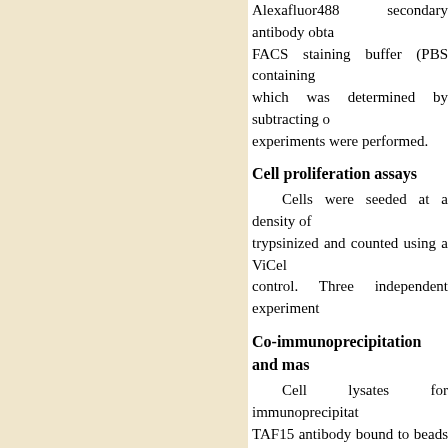Alexafluor488 secondary antibody obtained from FACS staining buffer (PBS containing which was determined by subtracting o experiments were performed.
Cell proliferation assays
Cells were seeded at a density of trypsinized and counted using a ViCel control. Three independent experiment
Co-immunoprecipitation and mas
Cell lysates for immunoprecipitat TAF15 antibody bound to beads was analyzed by LC-MS/MS using label-fre Viewer software [37] and further analyz
Cell cycle analysis
The cells were pelleted and wash with cold PBS at 4°C and suspended in 30 min. Cells were stained with 50 µg Analyzer (Miltenyi Biotech), and data a
Colony formation assays
Cells were treated with 10 µg/ml c